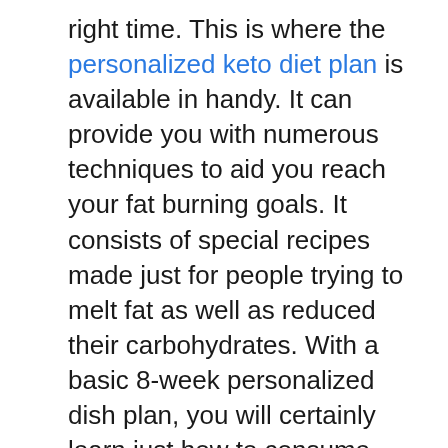right time. This is where the personalized keto diet plan is available in handy. It can provide you with numerous techniques to aid you reach your fat burning goals. It consists of special recipes made just for people trying to melt fat as well as reduced their carbohydrates. With a basic 8-week personalized dish plan, you will certainly learn just how to consume appropriate to melt fat.
Lots of people do not recognize how much food they really eat. A diet with a high carbohydrate degree can be complicated due to the fact that our body's primary resource of gas is glucose, which is located in foods like pasta and also white bread. Ketone degrees often tend to drop as we